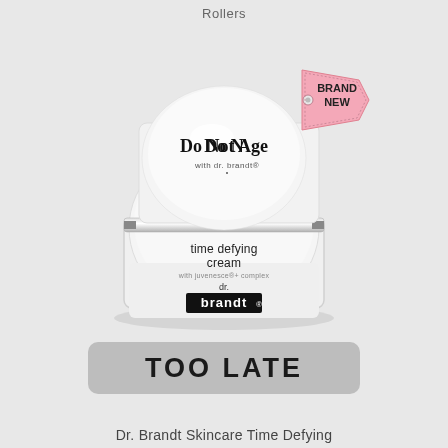Rollers
[Figure (photo): Dr. Brandt Do Not Age time defying cream jar with brand new tag]
TOO LATE
Dr. Brandt Skincare Time Defying